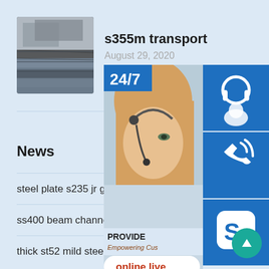[Figure (photo): Steel plates stacked outdoors]
s355m transport
August 29, 2020
[Figure (photo): Customer support representative with headset, 24/7 support icons including headset, phone, and Skype icons, with PROVIDE Empowering Customers text and online live button]
News
steel plate s235 jr g2
ss400 beam channel weight
thick st52 mild steel pipes